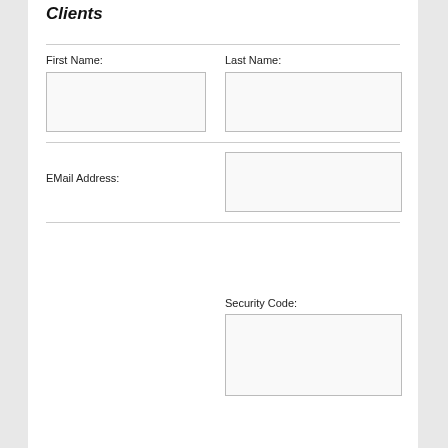Clients
First Name:
Last Name:
EMail Address:
Security Code: